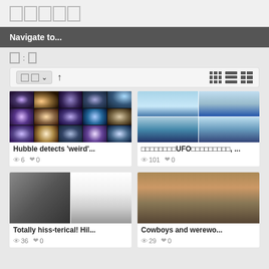□□□□□
Navigate to...
□ : □
[Figure (screenshot): Sort/filter toolbar with dropdown, up arrow, and view toggle icons (grid, list, detail)]
[Figure (photo): Hubble telescope image mosaic of galaxies]
Hubble detects 'weird'...
👁 6  ❤ 0
[Figure (photo): Snow mountain landscape with UFO-like objects]
□□□□□□□□UFO□□□□□□□□□, ...
👁 101  ❤ 0
[Figure (photo): Cat sitting near white cylinders, dark background]
Totally hiss-terical! Hil...
👁 36  ❤ 0
[Figure (photo): Desert scene with cowboys and werewolves]
Cowboys and werewo...
👁 29  ❤ 0